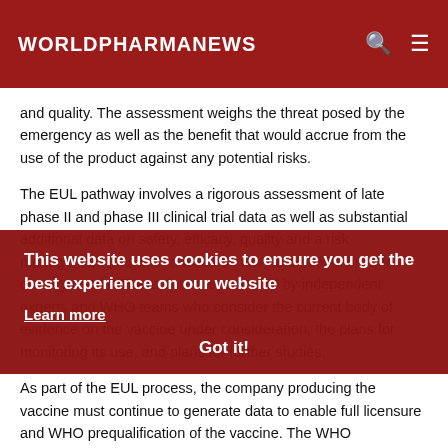WORLDPHARMANEWS
and quality. The assessment weighs the threat posed by the emergency as well as the benefit that would accrue from the use of the product against any potential risks.
The EUL pathway involves a rigorous assessment of late phase II and phase III clinical trial data as well as substantial additional data on safety, efficacy, quality and a risk management plan with a focus on low- and middle-income country needs. These data are reviewed by independent experts and WHO teams who consider the current body of evidence on the vaccine under consideration, the plans for monitoring its use, and plans for further studies.
As part of the EUL process, the company producing the vaccine must continue to generate data to enable full licensure and WHO prequalification of the vaccine. The WHO prequalification process will assess additional clinical data generated from vaccine trials and deployment on a rolling basis to ensure the vaccine meets the necessary standards of quality, safety and efficacy for broader availability.
This website uses cookies to ensure you get the best experience on our website
Learn more
Got it!